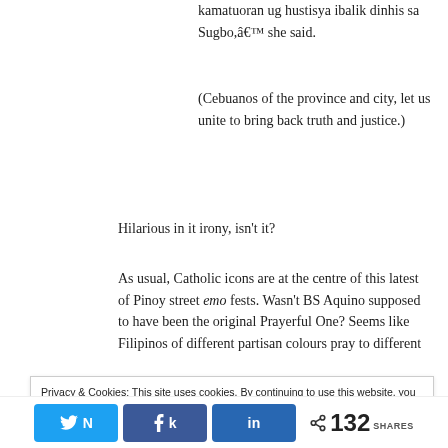kamatuoran ug hustisya ibalik dinhis sa Sugbo,â€™ she said.
(Cebuanos of the province and city, let us unite to bring back truth and justice.)
Hilarious in it irony, isn't it?
As usual, Catholic icons are at the centre of this latest of Pinoy street emo fests. Wasn't BS Aquino supposed to have been the original Prayerful One? Seems like Filipinos of different partisan colours pray to different
Privacy & Cookies: This site uses cookies. By continuing to use this website, you agree to their use.
To find out more, including how to control cookies, see here: Cookie Policy
132 SHARES